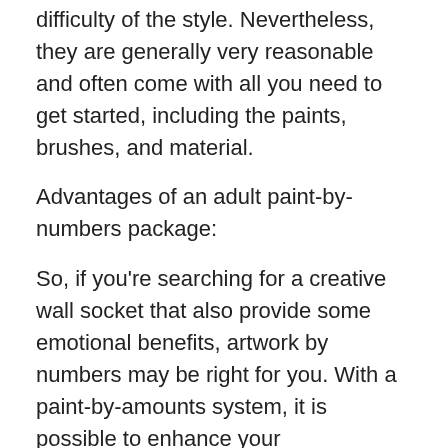difficulty of the style. Nevertheless, they are generally very reasonable and often come with all you need to get started, including the paints, brushes, and material.
Advantages of an adult paint-by-numbers package:
So, if you're searching for a creative wall socket that also provide some emotional benefits, artwork by numbers may be right for you. With a paint-by-amounts system, it is possible to enhance your concentration and attention, ease anxiety, and increase your self-self-confidence whilst building a beautiful thing of beauty. So, give it a shot right now!